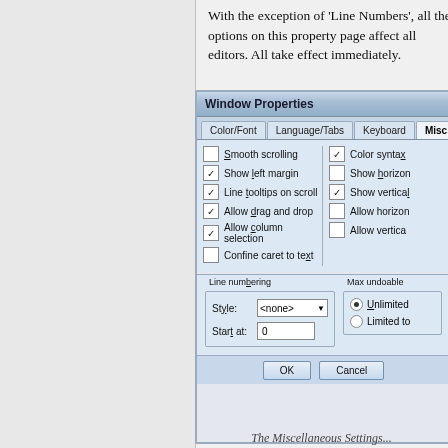With the exception of 'Line Numbers', all the options on this property page affect all editors. All take effect immediately.
[Figure (screenshot): Window Properties dialog showing the Misc tab with checkboxes for Smooth scrolling, Show left margin, Line tooltips on scroll, Allow drag and drop, Allow column selection, Confine caret to text, Color syntax, Show horizontal scrollbar, Show vertical scrollbar, Allow horizontal scroll, Allow vertical scroll. Line numbering group with Style dropdown set to <none> and Start at field set to 0. Max undoable group with Unlimited and Limited to radio options. OK and Cancel buttons at bottom.]
The Miscellaneous Settings...